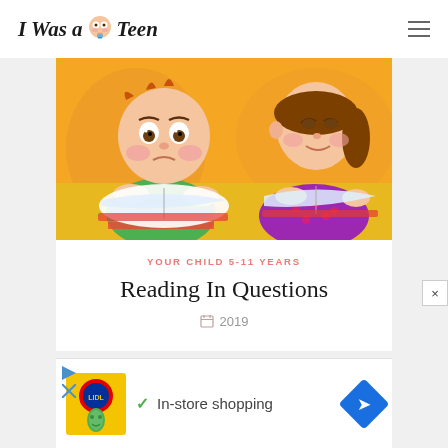I Was a Teen
[Figure (illustration): Cartoon illustration of two children reading books on an orange background. A bald baby boy with rosy cheeks in a striped shirt looks confused at an open book on the left, and a girl with brown hair in a purple floral top reads an open book on the right.]
YOUR CHILD 5-11 YEARS
Reading In Questions
2019
[Figure (other): Advertisement banner: Lidl logo with a cartoon pickle character, checkmark icon, text 'In-store shopping', and a blue diamond navigation arrow icon.]